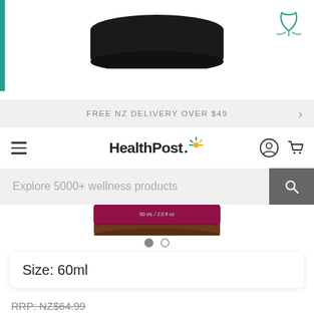[Figure (photo): Product jar with black lid and brown/purple label, partially visible above and below website navigation overlay]
FREE NZ DELIVERY OVER $49
[Figure (logo): HealthPost logo with colorful sunburst/asterisk accent]
Explore 5000+ wellness products
Size: 60ml
RRP: NZ$64.99